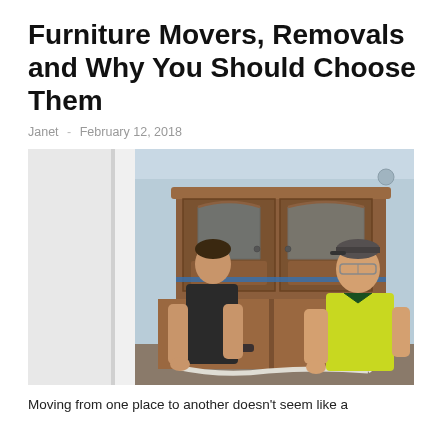Furniture Movers, Removals and Why You Should Choose Them
Janet - February 12, 2018
[Figure (photo): Two men carrying a large wooden cabinet/hutch through a doorway. One man is wearing a bright yellow high-visibility polo shirt. The room has light blue walls.]
Moving from one place to another doesn't seem like a